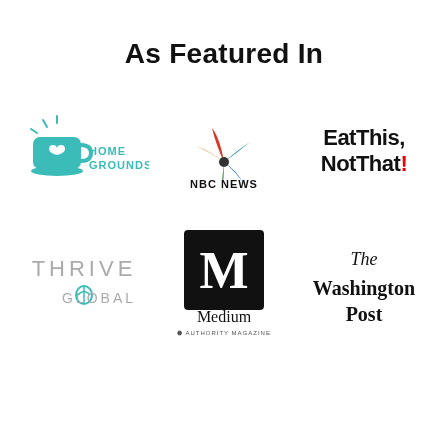As Featured In
[Figure (logo): Home Grounds logo - teal coffee cup with heart and rays, text HOME GROUNDS in teal]
[Figure (logo): NBC News logo - colorful peacock feathers in red, orange, yellow, green, blue, purple with NBC NEWS text below]
[Figure (logo): Eat This, Not That! logo - bold black text with red exclamation mark]
[Figure (logo): Thrive Global logo - light gray text THRIVE with teal leaf/globe icon and GLOBAL underneath]
[Figure (logo): Medium logo - black square with white M, Medium text below, Authority Magazine subtitle]
[Figure (logo): The Washington Post logo in old-English blackletter font]